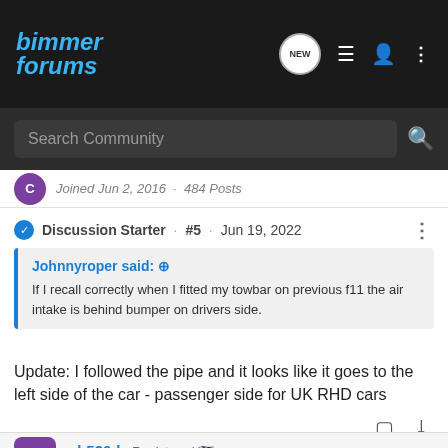Bimmer Forums
Search Community
Joined Jun 2, 2010 · 484 Posts
Discussion Starter · #5 · Jun 19, 2022
Johnnyroper said: ↑
If I recall correctly when I fitted my towbar on previous f11 the air intake is behind bumper on drivers side.
Update: I followed the pipe and it looks like it goes to the left side of the car - passenger side for UK RHD cars
qb530d · Registered 🇬🇧
Joined Jun 2, 2010 · 48 Posts